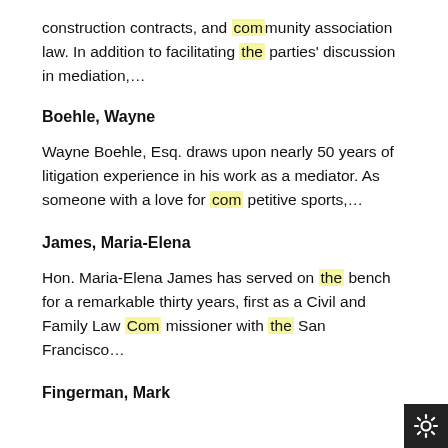construction contracts, and community association law. In addition to facilitating the parties' discussion in mediation,...
Boehle, Wayne
Wayne Boehle, Esq. draws upon nearly 50 years of litigation experience in his work as a mediator. As someone with a love for com petitive sports,...
James, Maria-Elena
Hon. Maria-Elena James has served on the bench for a remarkable thirty years, first as a Civil and Family Law Com missioner with the San Francisco...
Fingerman, Mark